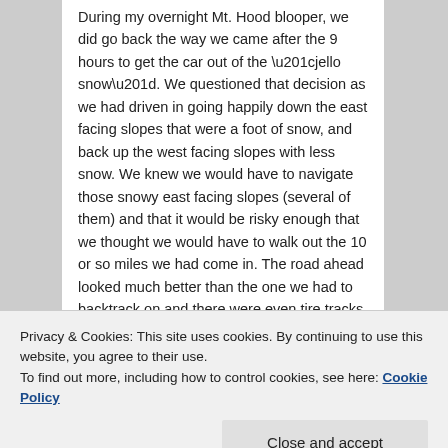During my overnight Mt. Hood blooper, we did go back the way we came after the 9 hours to get the car out of the “jello snow”. We questioned that decision as we had driven in going happily down the east facing slopes that were a foot of snow, and back up the west facing slopes with less snow. We knew we would have to navigate those snowy east facing slopes (several of them) and that it would be risky enough that we thought we would have to walk out the 10 or so miles we had come in. The road ahead looked much better than the one we had to backtrack on and there were even tire tracks, but we decided known was better than unknown.
Privacy & Cookies: This site uses cookies. By continuing to use this website, you agree to their use.
To find out more, including how to control cookies, see here: Cookie Policy
Close and accept